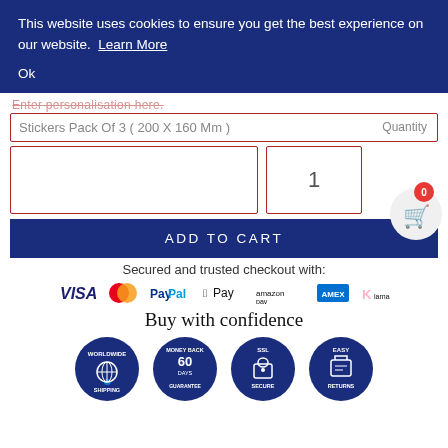This website uses cookies to ensure you get the best experience on our website. Learn More
Ok
Enter personalisation here.
Stickers Pack Of 3 ( 200 X 160 Mm )   Quantity
1
ADD TO CART
Secured and trusted checkout with:
[Figure (infographic): Payment method logos: VISA, Mastercard, PayPal, Apple Pay, Amazon Pay, American Express, and a seventh logo (Klarna/similar)]
Buy with confidence
[Figure (infographic): Four circular trust badge icons: WORLDWIDE SHIPPING, MONEY BACK 60 DAYS GUARANTEE, SSL SECURE, EASY RETURNS]